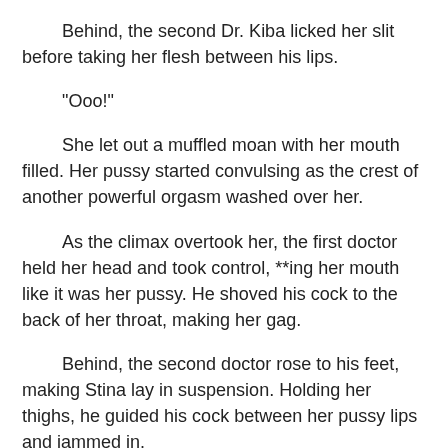Behind, the second Dr. Kiba licked her slit before taking her flesh between his lips.
"Ooo!"
She let out a muffled moan with her mouth filled. Her pussy started convulsing as the crest of another powerful orgasm washed over her.
As the climax overtook her, the first doctor held her head and took control, **ing her mouth like it was her pussy. He shoved his cock to the back of her throat, making her gag.
Behind, the second doctor rose to his feet, making Stina lay in suspension. Holding her thighs, he guided his cock between her pussy lips and jammed in.